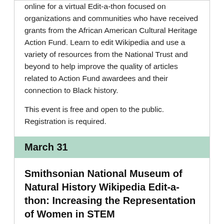online for a virtual Edit-a-thon focused on organizations and communities who have received grants from the African American Cultural Heritage Action Fund. Learn to edit Wikipedia and use a variety of resources from the National Trust and beyond to help improve the quality of articles related to Action Fund awardees and their connection to Black history.
This event is free and open to the public. Registration is required.
March 31
Smithsonian National Museum of Natural History Wikipedia Edit-a-thon: Increasing the Representation of Women in STEM
WHEN